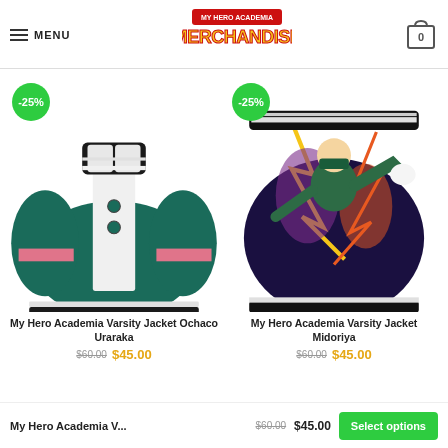MENU | My Hero Academia Merchandise | 0
[Figure (photo): My Hero Academia Merchandise logo with yellow and red anime-style text on white background]
[Figure (photo): My Hero Academia Varsity Jacket Ochaco Uraraka - teal/white/pink varsity jacket with -25% discount badge]
My Hero Academia Varsity Jacket Ochaco Uraraka
$60.00  $45.00
[Figure (photo): My Hero Academia Varsity Jacket Midoriya - colorful anime print varsity jacket with -25% discount badge]
My Hero Academia Varsity Jacket Midoriya
$60.00  $45.00
My Hero Academia V...  $60.00  $45.00  Select options